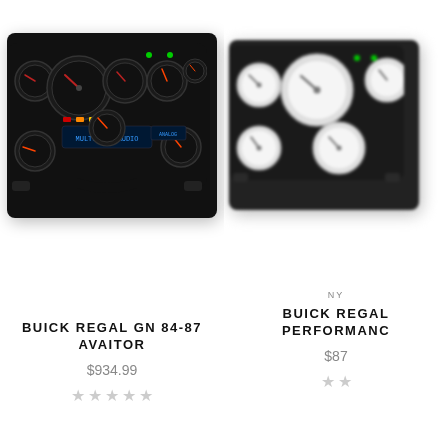[Figure (photo): Buick Regal GN 84-87 Aviator dashboard gauge cluster with black face and multiple round gauges on black panel]
BUICK REGAL GN 84-87 AVAITOR
$934.99
[Figure (photo): Buick Regal performance dashboard gauge cluster with white face gauges on dark panel, partially cropped]
NY
BUICK REGAL PERFORMANCE
$87